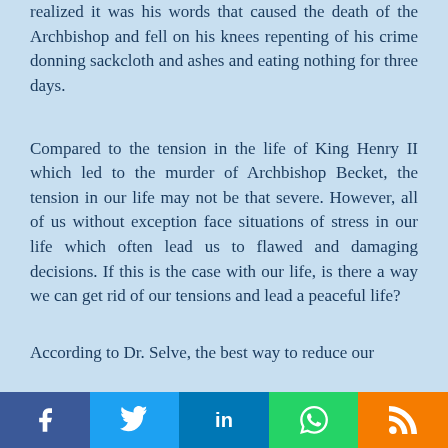realized it was his words that caused the death of the Archbishop and fell on his knees repenting of his crime donning sackcloth and ashes and eating nothing for three days.
Compared to the tension in the life of King Henry II which led to the murder of Archbishop Becket, the tension in our life may not be that severe. However, all of us without exception face situations of stress in our life which often lead us to flawed and damaging decisions. If this is the case with our life, is there a way we can get rid of our tensions and lead a peaceful life?
According to Dr. Selve, the best way to reduce our
f  [twitter]  in  [whatsapp]  [blogger]